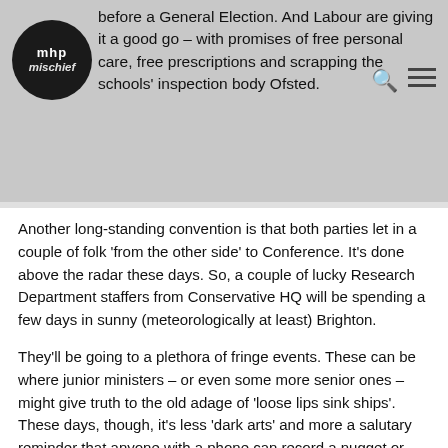before a General Election. And Labour are giving it a good go – with promises of free personal care, free prescriptions and scrapping the schools' inspection body Ofsted.
[Figure (logo): MHP Mischief circular logo, dark background with white text]
Another long-standing convention is that both parties let in a couple of folk 'from the other side' to Conference. It's done above the radar these days. So, a couple of lucky Research Department staffers from Conservative HQ will be spending a few days in sunny (meteorologically at least) Brighton.
They'll be going to a plethora of fringe events. These can be where junior ministers – or even some more senior ones – might give truth to the old adage of 'loose lips sink ships'. These days, though, it's less 'dark arts' and more a salutary reminder that anyone with a phone can record a nugget or two that can put the cat amongst the pigeons.
But anyone observing the last 48 hours of the Labour Conference might be forgiven for concluding there is very little 'attack' work to be done by CCHQ; the